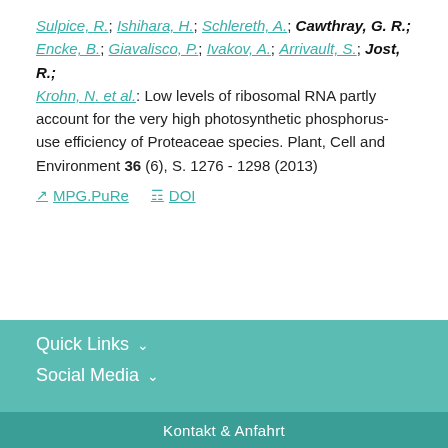Sulpice, R.; Ishihara, H.; Schlereth, A.; Cawthray, G. R.; Encke, B.; Giavalisco, P.; Ivakov, A.; Arrivault, S.; Jost, R.; Krohn, N. et al.: Low levels of ribosomal RNA partly account for the very high photosynthetic phosphorus-use efficiency of Proteaceae species. Plant, Cell and Environment 36 (6), S. 1276 - 1298 (2013)
MPG.PuRe   DOI
Quick Links   Social Media   Kontakt & Anfahrt